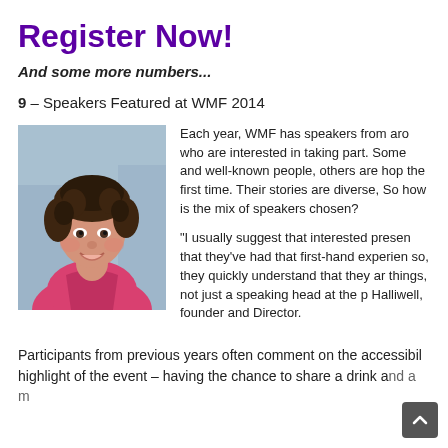Register Now!
And some more numbers...
9 – Speakers Featured at WMF 2014
[Figure (photo): Smiling woman with short curly brown hair wearing a pink jacket, professional headshot photo]
Each year, WMF has speakers from aro who are interested in taking part. Some and well-known people, others are hop the first time. Their stories are diverse, So how is the mix of speakers chosen?
“I usually suggest that interested presen that they’ve had that first-hand experien so, they quickly understand that they ar things, not just a speaking head at the p Halliwell, founder and Director.
Participants from previous years often comment on the accessibil highlight of the event – having the chance to share a drink a and a m